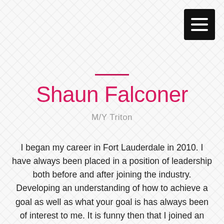[Figure (other): Hamburger/menu icon button (dark square with three white horizontal bars) in top-right corner]
Shaun Falconer
M/Y Triton
I began my career in Fort Lauderdale in 2010. I have always been placed in a position of leadership both before and after joining the industry. Developing an understanding of how to achieve a goal as well as what your goal is has always been of interest to me. It is funny then that I joined an industry where the goal posts are constantly moving whether it be certification based, owner and guest satisfaction, management company